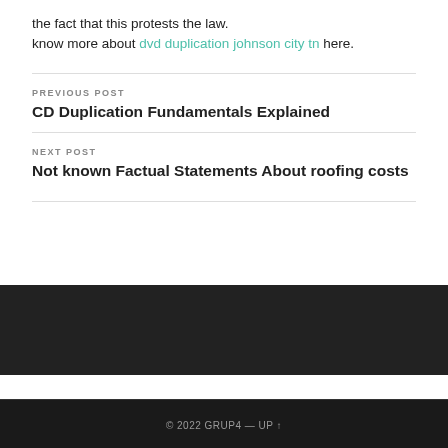the fact that this protests the law. know more about dvd duplication johnson city tn here.
PREVIOUS POST
CD Duplication Fundamentals Explained
NEXT POST
Not known Factual Statements About roofing costs
© 2022 GRUP4 — UP ↑